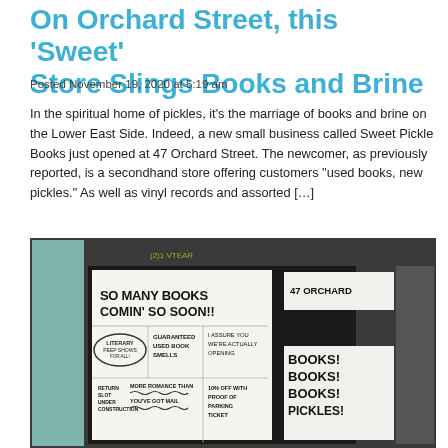On Orchard Street, this 'Sweet' Store Slings Books and Brine
Posted November 19, 2020 at 5:19 am
In the spiritual home of pickles, it's the marriage of books and brine on the Lower East Side. Indeed, a new small business called Sweet Pickle Books just opened at 47 Orchard Street. The newcomer, as previously reported, is a secondhand store offering customers "used books, new pickles." As well as vinyl records and assorted […]
[Figure (photo): Storefront of Sweet Pickle Books at 47 Orchard Street showing hand-lettered signs in the window: 'SO MANY BOOKS COMIN' SO SOON!!', '47 ORCHARD', 'BOOKS! BOOKS! BOOKS!', 'PICKLES!', 'GUARANTEED USED BOOK SMELLS', 'I ASSURE YOU WE'RE ACTUALLY OPENING', 'LITERARY PEEP SHOWS', 'MORE ROMANCE THAN YOU'VE GOT MAIL', 'RETURN SLOT UNDER CONSTRUCTION', '10% OFF WITH PROOF OF PARKING TICKET']